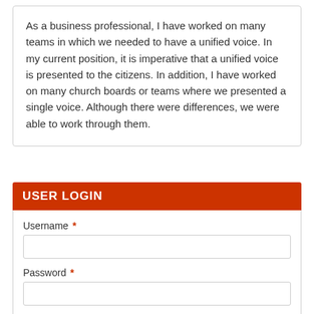As a business professional, I have worked on many teams in which we needed to have a unified voice.  In my current position, it is imperative that a unified voice is presented to the citizens.  In addition, I have worked on many church boards or teams where we presented a single voice.  Although there were differences, we were able to work through them.
USER LOGIN
Username *
Password *
Request new password
Log in